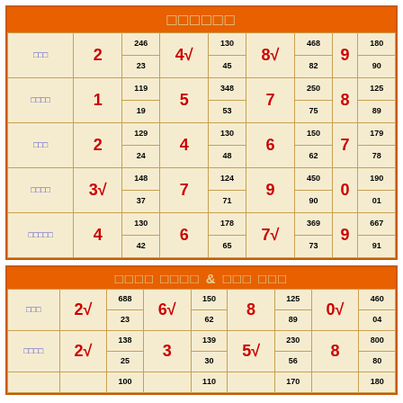□□□□□□
| □□□ | 2 | 246
23 | 4√ | 130
45 | 8√ | 468
82 | 9 | 180
90 |
| □□□□ | 1 | 119
19 | 5 | 348
53 | 7 | 250
75 | 8 | 125
89 |
| □□□ | 2 | 129
24 | 4 | 130
48 | 6 | 150
62 | 7 | 179
78 |
| □□□□ | 3√ | 148
37 | 7 | 124
71 | 9 | 450
90 | 0 | 190
01 |
| □□□□□ | 4 | 130
42 | 6 | 178
65 | 7√ | 369
73 | 9 | 667
91 |
□□□□ □□□□ & □□□ □□□
| □□□ | 2√ | 688
23 | 6√ | 150
62 | 8 | 125
89 | 0√ | 460
04 |
| □□□□ | 2√ | 138
25 | 3 | 139
30 | 5√ | 230
56 | 8 | 800
80 |